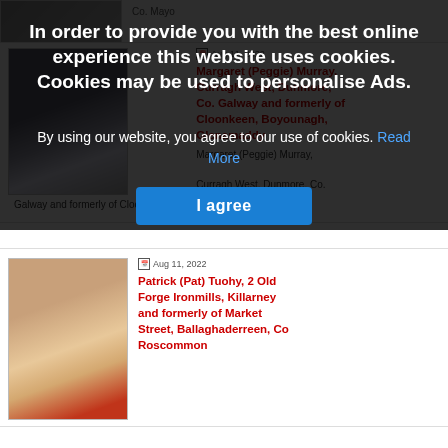In order to provide you with the best online experience this website uses cookies. Cookies may be used to personalise Ads.
By using our website, you agree to our use of cookies. Read More
I agree
[Figure (photo): Photo of a nun in dark habit with white collar/bib]
Aug 11, 2022
Margaret (Peggie) Murray, Curragh West, Dunmore, Co. Galway and formerly of Cloonkeen, Boyounagh, Glenamaddy
Margaret (Peggie) Murray,
Curragh West, Dunmore, Co.
Galway and formerly of Cloonkeen,…
[Figure (photo): Photo of an elderly man with white hair and beard, wearing a red jacket, smiling]
Aug 11, 2022
Patrick (Pat) Tuohy, 2 Old Forge Ironmills, Killarney and formerly of Market Street, Ballaghaderreen, Co Roscommon